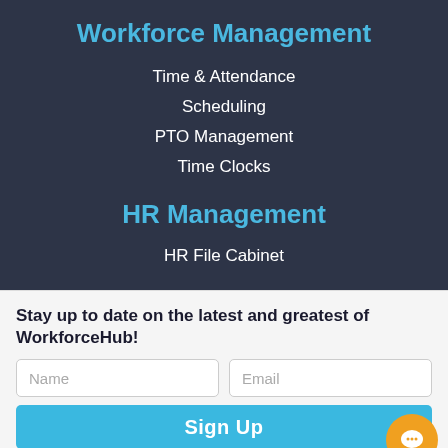Workforce Management
Time & Attendance
Scheduling
PTO Management
Time Clocks
HR Management
HR File Cabinet
Stay up to date on the latest and greatest of WorkforceHub!
Sign Up